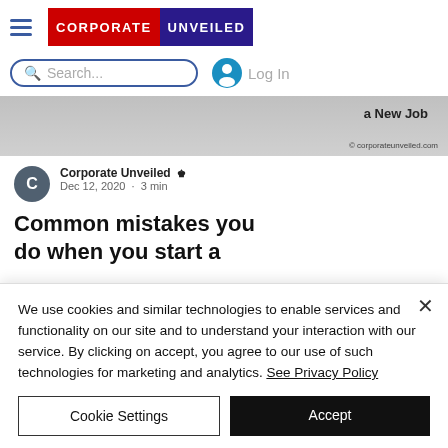[Figure (logo): Corporate Unveiled logo with hamburger menu, red 'CORPORATE' and dark blue 'UNVEILED' text blocks]
[Figure (screenshot): Search bar with magnifying glass icon and 'Search...' placeholder, plus Login icon and 'Log In' text]
[Figure (photo): Partial article image strip showing 'a New Job' text and corporateunveiled.com credit]
Corporate Unveiled 👑
Dec 12, 2020 · 3 min
Common mistakes you do when you start a
We use cookies and similar technologies to enable services and functionality on our site and to understand your interaction with our service. By clicking on accept, you agree to our use of such technologies for marketing and analytics. See Privacy Policy
Cookie Settings
Accept